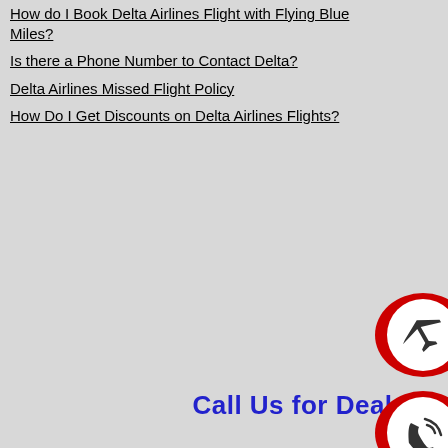How do I Book Delta Airlines Flight with Flying Blue Miles?
Is there a Phone Number to Contact Delta?
Delta Airlines Missed Flight Policy
How Do I Get Discounts on Delta Airlines Flights?
Call Us for Deals
[Figure (illustration): Two circular icons on red pill-shaped backgrounds on the right side: top icon shows an airplane silhouette, bottom icon shows a phone/call symbol]